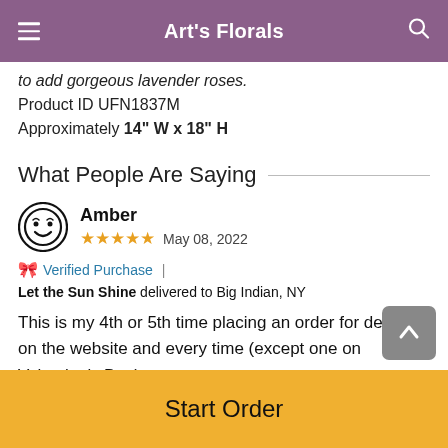Art's Florals
to add gorgeous lavender roses.
Product ID UFN1837M
Approximately 14" W x 18" H
What People Are Saying
Amber
★★★★★ May 08, 2022
🎀 Verified Purchase | Let the Sun Shine delivered to Big Indian, NY
This is my 4th or 5th time placing an order for delivery on the website and every time (except one on Valentine's Day)